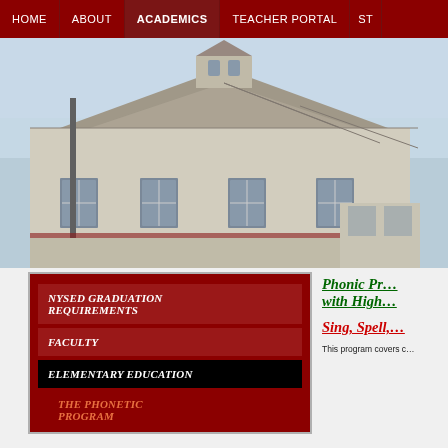HOME   ABOUT   ACADEMICS   TEACHER PORTAL   ST...
[Figure (photo): Exterior photo of a school building with brick/stone facade, multiple windows, and a peaked roof with a tower/cupola. Blue sky in background.]
NYSED GRADUATION REQUIREMENTS
FACULTY
ELEMENTARY EDUCATION
THE PHONETIC PROGRAM
Phonic Pr... with High...
Sing, Spell,...
This program covers c...